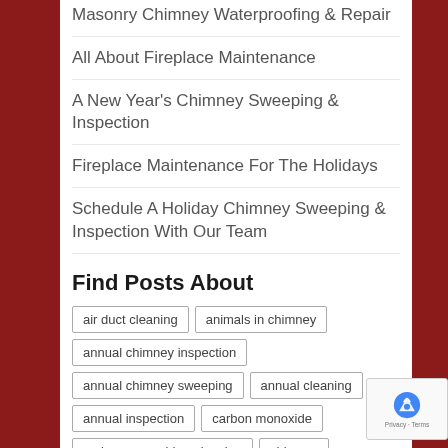Masonry Chimney Waterproofing & Repair
All About Fireplace Maintenance
A New Year's Chimney Sweeping & Inspection
Fireplace Maintenance For The Holidays
Schedule A Holiday Chimney Sweeping & Inspection With Our Team
Find Posts About
air duct cleaning
animals in chimney
annual chimney inspection
annual chimney sweeping
annual cleaning
annual inspection
carbon monoxide
carbon monoxide poisoning
chimney
chimney cap
chimney cleaning
chimney crown
chimney damage
chimney damper
chimney fires
chimney inspection
chimney leaks
chimney liner
chimney maintenance